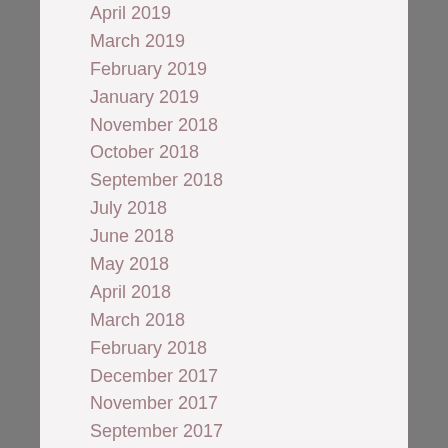April 2019
March 2019
February 2019
January 2019
November 2018
October 2018
September 2018
July 2018
June 2018
May 2018
April 2018
March 2018
February 2018
December 2017
November 2017
September 2017
August 2017
July 2017
June 2017